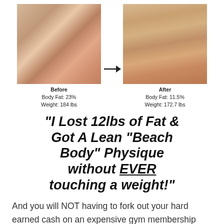[Figure (photo): Before and after transformation photos. Left: couple in swimwear (before). Right: lean muscular male taking mirror selfie (after). Arrow pointing right between them.]
Before
Body Fat: 23%
Weight: 184 lbs
After
Body Fat: 11.5%
Weight: 172.7 lbs
"I Lost 12lbs of Fat & Got A Lean "Beach Body" Physique without EVER touching a weight!"
And you will NOT having to fork out your hard earned cash on an expensive gym membership that you